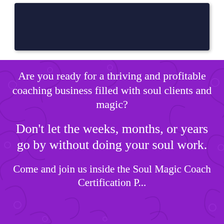[Figure (other): Dark navy/black rectangle at top of page, appears to be a video or image placeholder]
Are you ready for a thriving and profitable coaching business filled with soul clients and magic?
Don't let the weeks, months, or years go by without doing your soul work.
Come and join us inside the Soul Magic Coach Certification P...